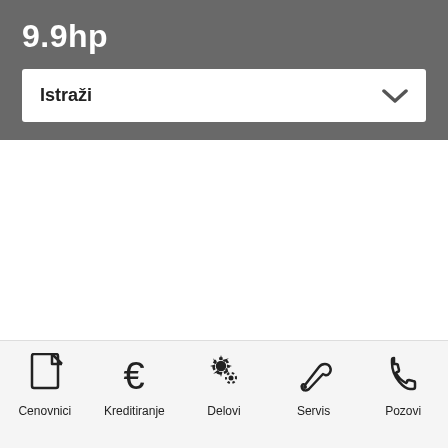9.9hp
Istraži
Cenovnici   Kreditiranje   Delovi   Servis   Pozovi